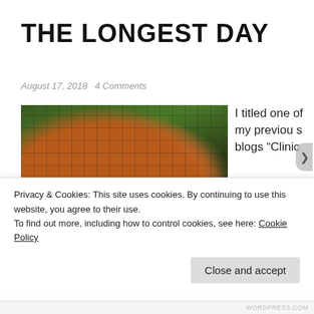THE LONGEST DAY
August 17, 2018   4 Comments
[Figure (photo): A red panda resting in a zoo enclosure with wire mesh fencing and trees visible in the background.]
I titled one of my previous blogs “Clinic
Privacy & Cookies: This site uses cookies. By continuing to use this website, you agree to their use.
To find out more, including how to control cookies, see here: Cookie Policy
Close and accept